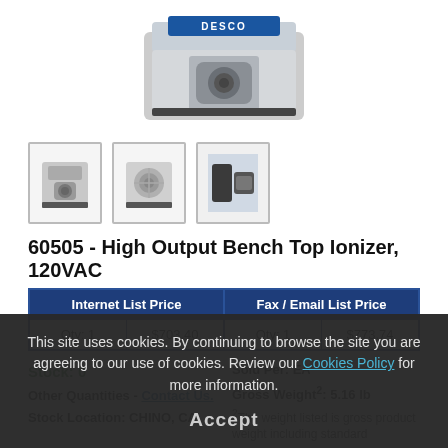[Figure (photo): Product image of DESCO High Output Bench Top Ionizer shown from front angle, with partial DESCO logo visible at top]
[Figure (photo): Three thumbnail images of the DESCO ionizer product from different angles]
60505 - High Output Bench Top Ionizer, 120VAC
| Internet List Price |  | Fax / Email List Price |  |
| --- | --- | --- | --- |
| Qty: 1 | $703.40 | Qty: 1 | $773.74 |
Stock: 0
Other Quantities - Contact Us.
Stock Location: CHINO, CA
Sold Per: EA
Gross Weight²: 5.16 lb
²The weight listed is gross product weight including standard
This site uses cookies. By continuing to browse the site you are agreeing to our use of cookies. Review our Cookies Policy for more information.
Accept